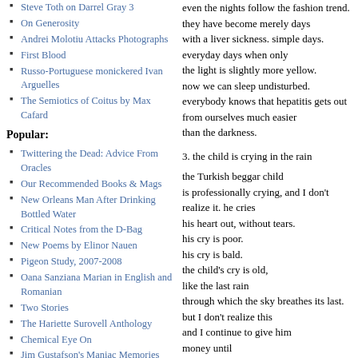Steve Toth on Darrel Gray 3
On Generosity
Andrei Molotiu Attacks Photographs
First Blood
Russo-Portuguese monickered Ivan Arguelles
The Semiotics of Coitus by Max Cafard
Popular:
Twittering the Dead: Advice From Oracles
Our Recommended Books & Mags
New Orleans Man After Drinking Bottled Water
Critical Notes from the D-Bag
New Poems by Elinor Nauen
Pigeon Study, 2007-2008
Oana Sanziana Marian in English and Romanian
Two Stories
The Hariette Surovell Anthology
Chemical Eye On
Jim Gustafson's Maniac Memories
Altar Knowledge
even the nights follow the fashion trend.
they have become merely days
with a liver sickness. simple days.
everyday days when only
the light is slightly more yellow.
now we can sleep undisturbed.
everybody knows that hepatitis gets out
from ourselves much easier
than the darkness.
3. the child is crying in the rain
the Turkish beggar child
is professionally crying, and I don't
realize it. he cries
his heart out, without tears.
his cry is poor.
his cry is bald.
the child's cry is old,
like the last rain
through which the sky breathes its last.
but I don't realize this
and I continue to give him
money until
his eyes start
pouring coins.
4. through the peephole